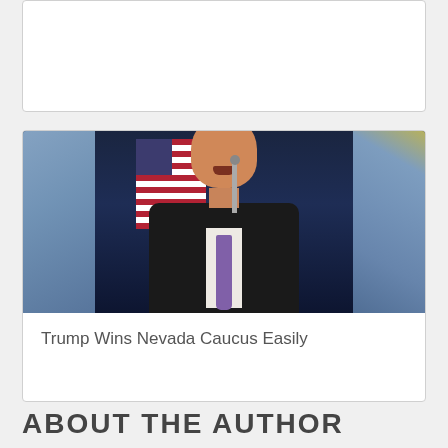[Figure (photo): Blank white card/image placeholder at top of page]
[Figure (photo): Photo of Donald Trump speaking at a podium with American flag and Nevada state flags in the background, wearing a dark suit and purple tie, mouth open speaking]
Trump Wins Nevada Caucus Easily
ABOUT THE AUTHOR